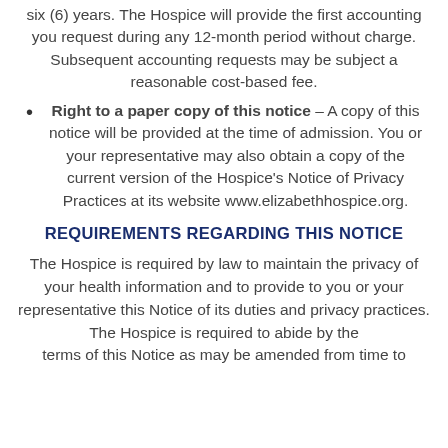six (6) years. The Hospice will provide the first accounting you request during any 12-month period without charge. Subsequent accounting requests may be subject a reasonable cost-based fee.
Right to a paper copy of this notice – A copy of this notice will be provided at the time of admission. You or your representative may also obtain a copy of the current version of the Hospice's Notice of Privacy Practices at its website www.elizabethhospice.org.
REQUIREMENTS REGARDING THIS NOTICE
The Hospice is required by law to maintain the privacy of your health information and to provide to you or your representative this Notice of its duties and privacy practices. The Hospice is required to abide by the terms of this Notice as may be amended from time to...